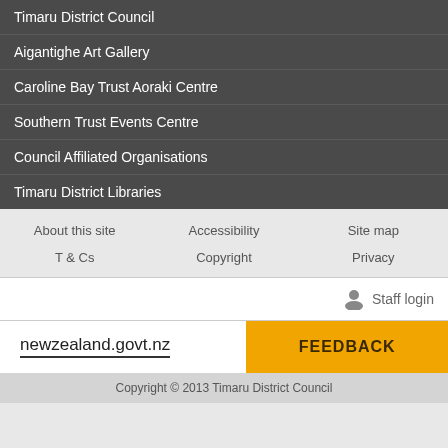Timaru District Council
Aigantighe Art Gallery
Caroline Bay Trust Aoraki Centre
Southern Trust Events Centre
Council Affiliated Organisations
Timaru District Libraries
About this site
Accessibility
Site map
T & Cs
Copyright
Privacy
Staff login
newzealand.govt.nz
FEEDBACK
Copyright © 2013 Timaru District Council